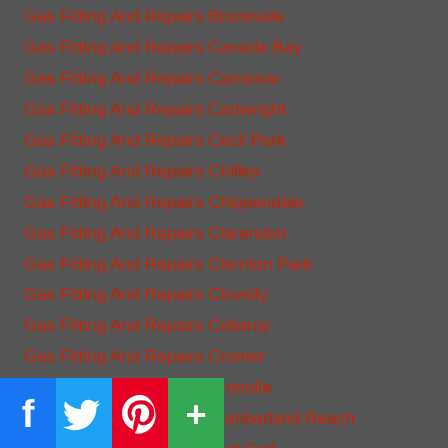Gas Fitting And Repairs Brookvale
Gas Fitting And Repairs Canada Bay
Gas Fitting And Repairs Carramar
Gas Fitting And Repairs Cartwright
Gas Fitting And Repairs Cecil Park
Gas Fitting And Repairs Chifley
Gas Fitting And Repairs Chippendale
Gas Fitting And Repairs Clarendon
Gas Fitting And Repairs Clernton Park
Gas Fitting And Repairs Clovelly
Gas Fitting And Repairs Collaroy
Gas Fitting And Repairs Cromer
Gas Fitting And Repairs Cronulla
Gas Fitting And Repairs Cumberland Reach
Gas Fitting And Repairs Curl Curl
Gas Fitting And Repairs Darlinghurst
Gas Fitting And Repairs Dawes Point
Gas Fitting And Repairs Dee Why
Gas Fitting And Repairs Dolans Bay
Gas Fitting And Repairs Dolans Bay (partial)